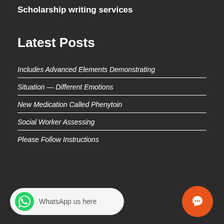Scholarship writing services
Latest Posts
Includes Advanced Elements Demonstrating
Situation — Different Emotions
New Medication Called Phenytoin
Social Worker Assessing
Please Follow Instructions